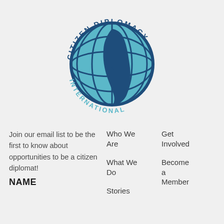[Figure (logo): Citizen Diplomacy International circular logo with globe and face silhouette in blue and teal colors]
Join our email list to be the first to know about opportunities to be a citizen diplomat!
NAME
Who We Are
What We Do
Stories
Get Involved
Become a Member